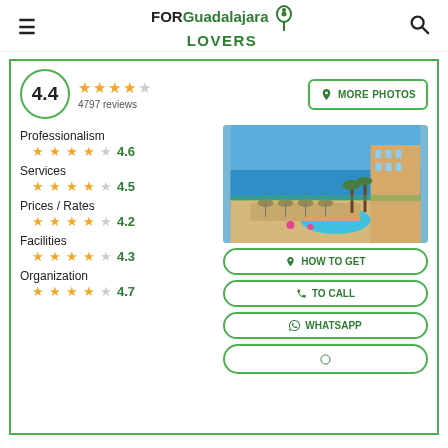FOR Guadalajara LOVERS
4.4 — 4797 reviews
Professionalism 4.6
Services 4.5
Prices / Rates 4.2
Facilities 4.3
Organization 4.7
[Figure (photo): Aerial view of a beachfront resort with pool, beach umbrellas, palm trees, and ocean]
MORE PHOTOS
HOW TO GET
TO CALL
WHATSAPP